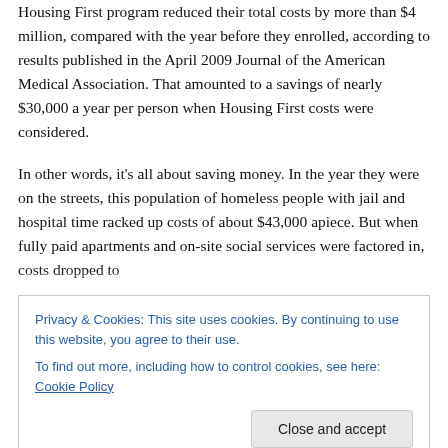Housing First program reduced their total costs by more than $4 million, compared with the year before they enrolled, according to results published in the April 2009 Journal of the American Medical Association. That amounted to a savings of nearly $30,000 a year per person when Housing First costs were considered.
In other words, it's all about saving money. In the year they were on the streets, this population of homeless people with jail and hospital time racked up costs of about $43,000 apiece. But when fully paid apartments and on-site social services were factored in, costs dropped to
Privacy & Cookies: This site uses cookies. By continuing to use this website, you agree to their use.
To find out more, including how to control cookies, see here: Cookie Policy
Hunger & Homelessness in American Cities in their annual